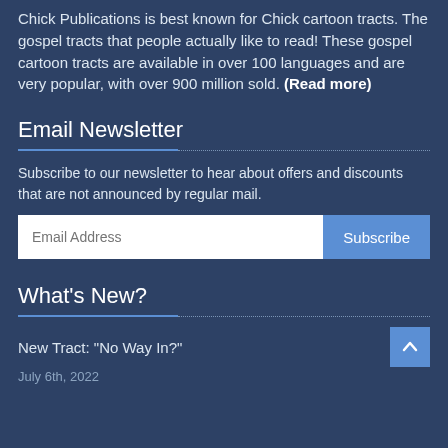Chick Publications is best known for Chick cartoon tracts. The gospel tracts that people actually like to read! These gospel cartoon tracts are available in over 100 languages and are very popular, with over 900 million sold. (Read more)
Email Newsletter
Subscribe to our newsletter to hear about offers and discounts that are not announced by regular mail.
What's New?
New Tract: "No Way In?"
July 6th, 2022